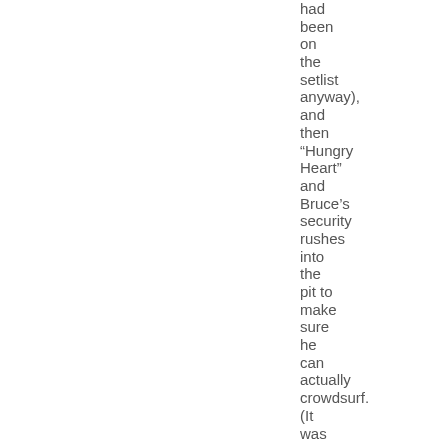had been on the setlist anyway), and then “Hungry Heart” and Bruce’s security rushes into the pit to make sure he can actually crowdsurf. (It was